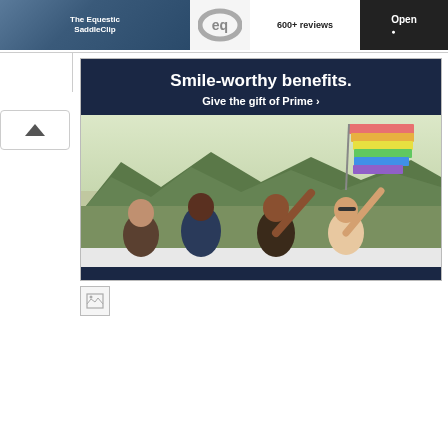[Figure (screenshot): Screenshot of a mobile app page showing an advertisement for 'The Equestic SaddleClip' app on the left, an 'eq' logo in the center, '600+ reviews' text, and an 'Open' button on the right in a dark box.]
[Figure (screenshot): Amazon Prime advertisement banner with dark blue background showing 'Smile-worthy benefits. Give the gift of Prime >' text, and below it a photo of four people in a convertible car holding a colorful rainbow flag with arms raised, with green hills in the background.]
[Figure (photo): Small broken/missing image icon placeholder below the Amazon Prime ad.]